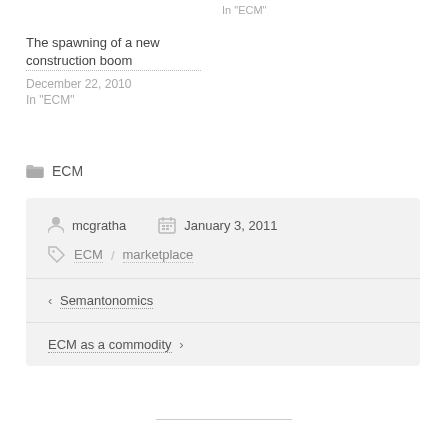In "ECM"
The spawning of a new construction boom
December 22, 2010
In "ECM"
ECM
mcgratha   January 3, 2011
ECM / marketplace
‹ Semantonomics
ECM as a commodity ›